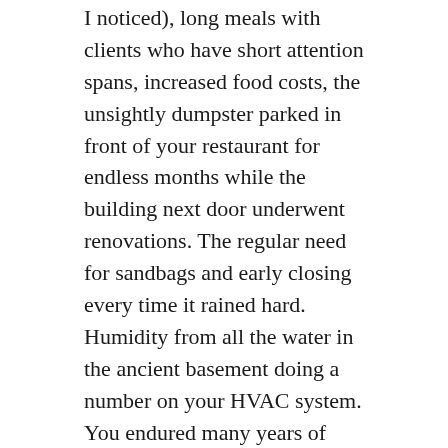I noticed), long meals with clients who have short attention spans, increased food costs, the unsightly dumpster parked in front of your restaurant for endless months while the building next door underwent renovations. The regular need for sandbags and early closing every time it rained hard. Humidity from all the water in the ancient basement doing a number on your HVAC system.  You endured many years of intense stress with changing palates, competition from the next new restaurant that garners all the attention for the few extra dollars that so many people manage. Constant festivals are both a boon on some days and a bust on others. Closed streets and full parking garages. None of these things ever stopped